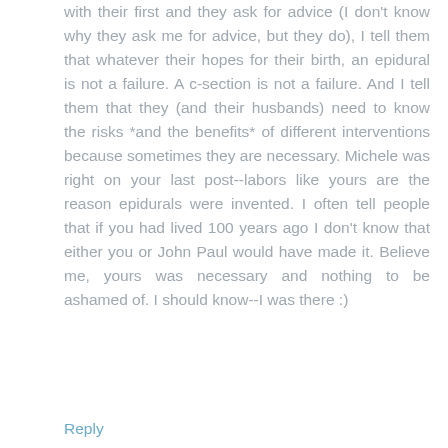with their first and they ask for advice (I don't know why they ask me for advice, but they do), I tell them that whatever their hopes for their birth, an epidural is not a failure. A c-section is not a failure. And I tell them that they (and their husbands) need to know the risks *and the benefits* of different interventions because sometimes they are necessary. Michele was right on your last post--labors like yours are the reason epidurals were invented. I often tell people that if you had lived 100 years ago I don't know that either you or John Paul would have made it. Believe me, yours was necessary and nothing to be ashamed of. I should know--I was there :)
Reply